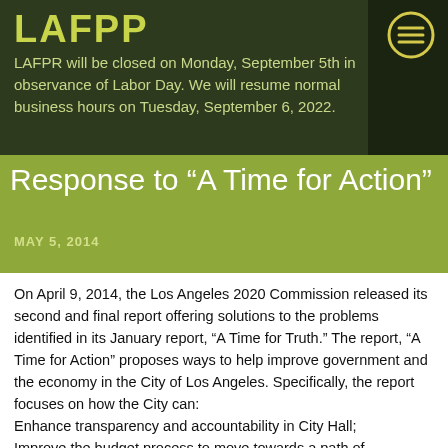LAFPP
LAFPR will be closed on Monday, September 5th in observance of Labor Day. We will resume normal business hours on Tuesday, September 6, 2022.
Response to “A Time for Action”
MAY 5, 2014
On April 9, 2014, the Los Angeles 2020 Commission released its second and final report offering solutions to the problems identified in its January report, “A Time for Truth.” The report, “A Time for Action” proposes ways to help improve government and the economy in the City of Los Angeles. Specifically, the report focuses on how the City can:
Enhance transparency and accountability in City Hall;
Improve the budget process to move towards a path of